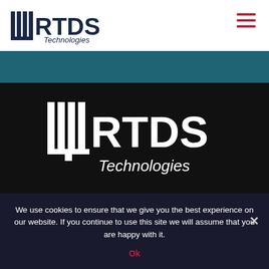[Figure (logo): RTDS Technologies logo in dark navy blue, top-left of white header bar]
[Figure (logo): Hamburger menu icon (three horizontal red bars) top-right of header]
[Figure (logo): RTDS Technologies logo in white, centered in the black main section]
+1 204 989 9700
rtds@rtds.com
We use cookies to ensure that we give you the best experience on our website. If you continue to use this site we will assume that you are happy with it.
Ok